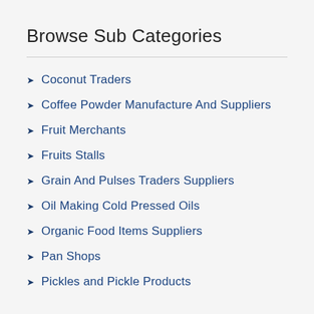Browse Sub Categories
Coconut Traders
Coffee Powder Manufacture And Suppliers
Fruit Merchants
Fruits Stalls
Grain And Pulses Traders Suppliers
Oil Making Cold Pressed Oils
Organic Food Items Suppliers
Pan Shops
Pickles and Pickle Products